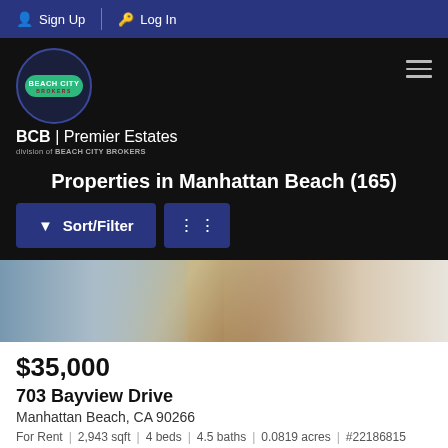Sign Up  Log In
[Figure (logo): Beach City Brokers logo with BCB Premier Estates branding on dark background]
Properties in Manhattan Beach (165)
[Figure (photo): Interior photo showing hardwood floors, a chair, and striped rug]
$35,000
703 Bayview Drive
Manhattan Beach, CA 90266
For Rent  |  2,943 sqft  |  4 beds  |  4.5 baths  |  0.0819 acres  |  #22186815
Compass